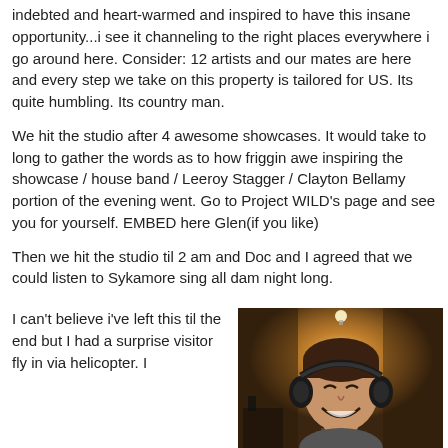indebted and heart-warmed and inspired to have this insane opportunity...i see it channeling to the right places everywhere i go around here. Consider: 12 artists and our mates are here and every step we take on this property is tailored for US. Its quite humbling. Its country man.
We hit the studio after 4 awesome showcases. It would take to long to gather the words as to how friggin awe inspiring the showcase / house band / Leeroy Stagger / Clayton Bellamy portion of the evening went. Go to Project WILD's page and see you for yourself. EMBED here Glen(if you like)
Then we hit the studio til 2 am and Doc and I agreed that we could listen to Sykamore sing all dam night long.
I can't believe i've left this til the end but I had a surprise visitor fly in via helicopter. I
[Figure (photo): A smiling man wearing black headphones in a recording studio, with warm glowing light in the background and studio equipment visible.]